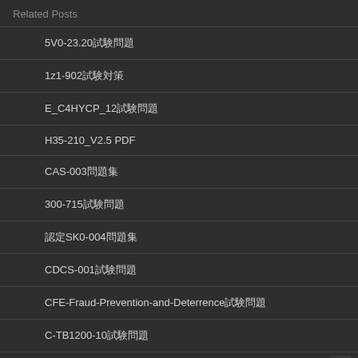Related Posts
5V0-23.20試験問題
1z1-902試験対策
E_C4HYCP_12試験問題
H35-210_V2.5 PDF
CAS-003問題集
300-715試験問題
認定SK0-004問題集
CDCS-001試験問題
CFE-Fraud-Prevention-and-Deterrence試験問題
C-TB1200-10試験問題
AD5-E112試験問題
PEGAPCDS87V1試験問題